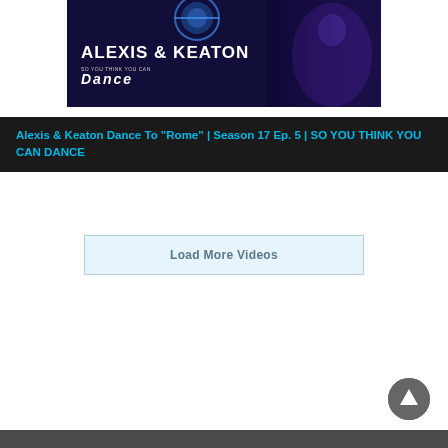[Figure (screenshot): Thumbnail image for 'So You Think You Can Dance' video featuring Alexis & Keaton with dark blue background and dancer silhouette. Title reads 'ALEXIS & KEATON' with the DANCE show logo.]
Alexis & Keaton Dance To "Rome" | Season 17 Ep. 5 | SO YOU THINK YOU CAN DANCE
Load More Videos
[Figure (other): Back to top button - circular grey button with upward arrow]